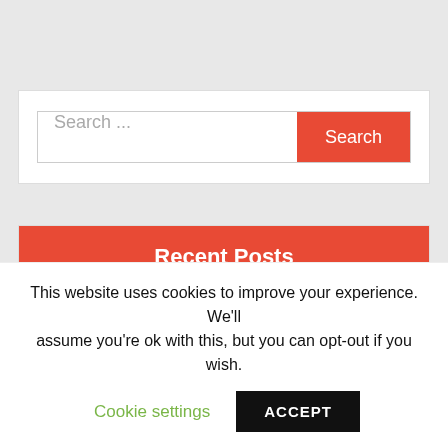[Figure (screenshot): Search input box with placeholder text 'Search ...' and a red 'Search' button]
Recent Posts
What Makes Beaujolais Wines Special When You Buy Them Online
How To Throw A Perfect Pizza Party
This website uses cookies to improve your experience. We'll assume you're ok with this, but you can opt-out if you wish.
Cookie settings  ACCEPT